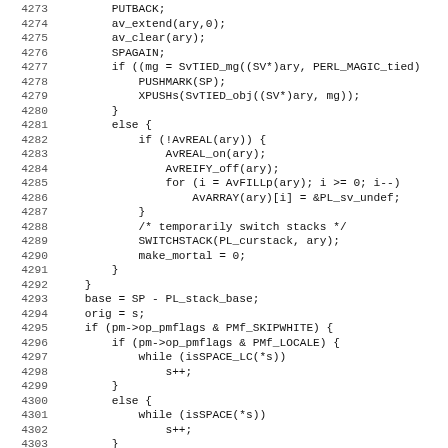Code listing lines 4273-4305, C source code (Perl internals)